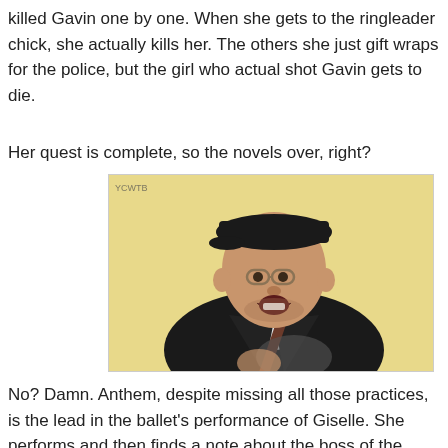killed Gavin one by one. When she gets to the ringleader chick, she actually kills her. The others she just gift wraps for the police, but the girl who actual shot Gavin gets to die.
Her quest is complete, so the novels over, right?
[Figure (photo): A man with glasses and a black cap wearing a black jacket, with an expression of surprise or excitement, against a yellow background. A small watermark 'YCWTB' is visible in the top left.]
No? Damn. Anthem, despite missing all those practices, is the lead in the ballet's performance of Giselle. She performs and then finds a note about the boss of the gang that the kidnappers worked for is going to be at a party and she should go and